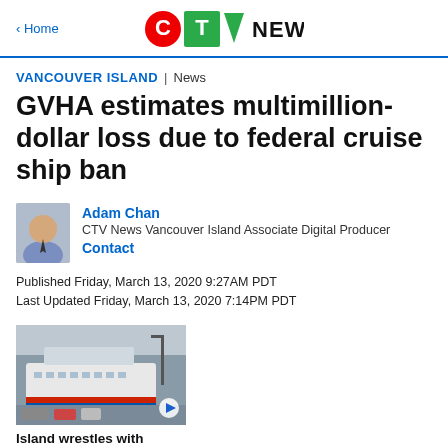< Home | CTV News
VANCOUVER ISLAND | News
GVHA estimates multimillion-dollar loss due to federal cruise ship ban
Adam Chan
CTV News Vancouver Island Associate Digital Producer
Contact
Published Friday, March 13, 2020 9:27AM PDT
Last Updated Friday, March 13, 2020 7:14PM PDT
[Figure (photo): Thumbnail image of a cruise ship at a harbour/port, with a blue play button overlay]
Island wrestles with cruise ban, travel